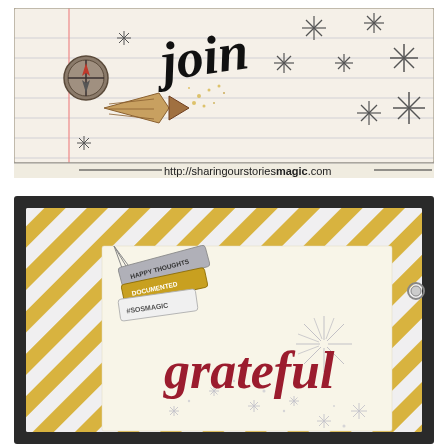[Figure (illustration): A decorative banner/header image on a lined notebook paper background featuring hand-drawn stars, a compass, a wooden arrow embellishment, glitter/sparkle elements, the word 'join' in large cursive script, and the URL 'http://sharingstoriesmagic.com' at the bottom.]
[Figure (illustration): A greeting card design on a dark charcoal/black background. The card features diagonal gold glitter stripes on white background, a cream/ivory center panel with the word 'grateful' in large crimson/red script lettering, starburst sparkle elements, small star confetti, and decorative tags in the upper left corner reading 'HAPPY THOUGHTS', 'DOCUMENTED', and '#SOSMAGIC'.]